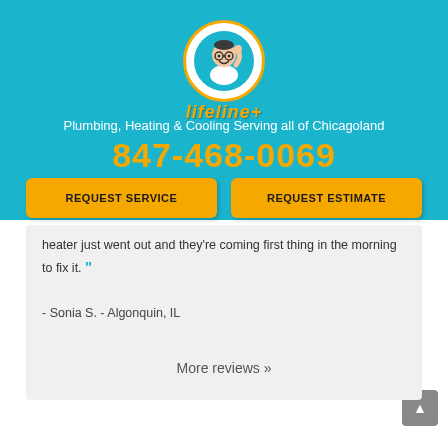[Figure (logo): Lifeline Plumbing logo with cartoon plumber in circular badge and stylized 'Lifeline+' text]
Plumbing, Heating & Cooling Serving all of Chicagoland
847-468-0069
REQUEST SERVICE
REQUEST ESTIMATE
heater just went out and they're coming first thing in the morning to fix it. ”
- Sonia S. - Algonquin, IL
More reviews »